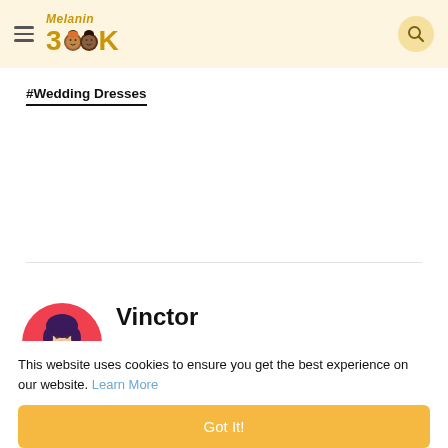Melanin BOOK — navigation header with logo and search icon
#Wedding Dresses
[Figure (illustration): Avatar illustration of a person with dark hair, pink/red circular background, representing the user 'Vinctor']
Vinctor
This website uses cookies to ensure you get the best experience on our website. Learn More
Got It!